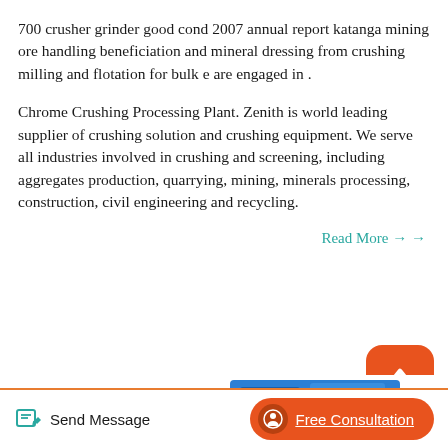700 crusher grinder good cond 2007 annual report katanga mining ore handling beneficiation and mineral dressing from crushing milling and flotation for bulk e are engaged in .
Chrome Crushing Processing Plant. Zenith is world leading supplier of crushing solution and crushing equipment. We serve all industries involved in crushing and screening, including aggregates production, quarrying, mining, minerals processing, construction, civil engineering and recycling.
Read More →
[Figure (photo): Blue industrial crushing/mining machine equipment shown partially at the bottom of the page, with orange scroll-to-top button overlay in upper right]
Send Message
Free Consultation